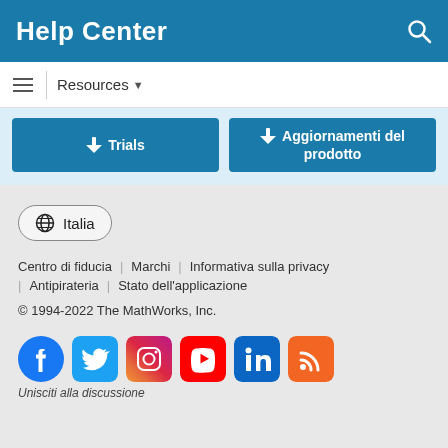Help Center
Resources ▾
Trials
Aggiornamenti del prodotto
Italia
Centro di fiducia | Marchi | Informativa sulla privacy | Antipirateria | Stato dell'applicazione
© 1994-2022 The MathWorks, Inc.
Unisciti alla discussione